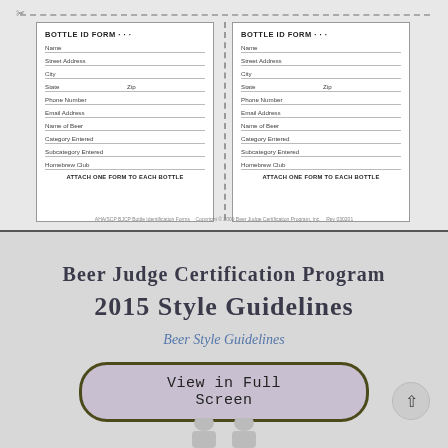[Figure (other): Two Bottle ID Forms side by side with dashed cut line at top and vertical dashed divider. Each form has fields: Name, Street Address, City, State, Zip, Phone Number, Email Address, Name of Beer, Category Entered, Subcategory Entered, Homebrew Club. Footer says ATTACH ONE FORM TO EACH BOTTLE.]
AHA/SCP BJCP Bottle Identification Forms   Copyright © 2009 Beer Judge Certification Program, Inc.   Rev 030201
Beer Judge Certification Program
2015 Style Guidelines
Beer Style Guidelines
[Figure (other): Button reading 'View in Full Screen' with rounded rectangle border, lavender background. To the right is a circular scroll-to-top button with an up arrow.]